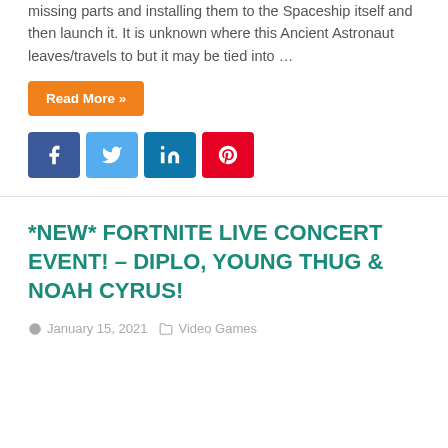missing parts and installing them to the Spaceship itself and then launch it. It is unknown where this Ancient Astronaut leaves/travels to but it may be tied into …
Read More »
[Figure (other): Social share buttons: Facebook, Twitter, LinkedIn, Pinterest]
*NEW* FORTNITE LIVE CONCERT EVENT! – DIPLO, YOUNG THUG & NOAH CYRUS!
January 15, 2021   Video Games